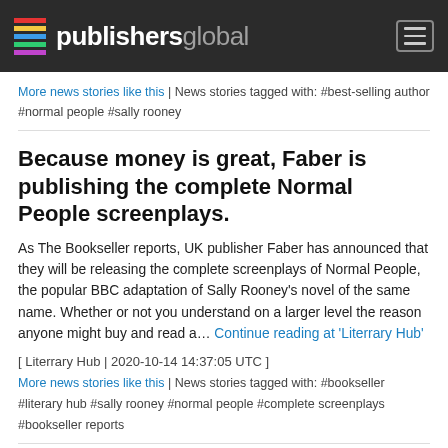publishersglobal
More news stories like this | News stories tagged with: #best-selling author #normal people #sally rooney
Because money is great, Faber is publishing the complete Normal People screenplays.
As The Bookseller reports, UK publisher Faber has announced that they will be releasing the complete screenplays of Normal People, the popular BBC adaptation of Sally Rooney's novel of the same name. Whether or not you understand on a larger level the reason anyone might buy and read a... Continue reading at 'Literrary Hub'
[ Literrary Hub | 2020-10-14 14:37:05 UTC ]
More news stories like this | News stories tagged with: #bookseller #literary hub #sally rooney #normal people #complete screenplays #bookseller reports